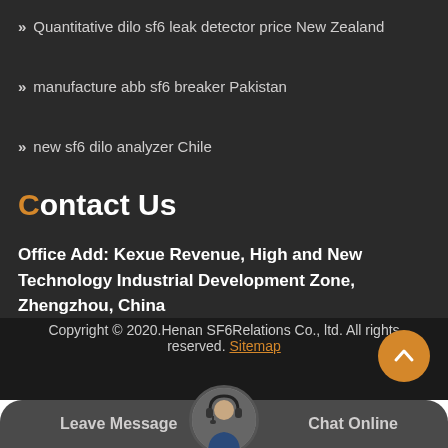Quantitative dilo sf6 leak detector price New Zealand
manufacture abb sf6 breaker Pakistan
new sf6 dilo analyzer Chile
Contact Us
Office Add: Kexue Revenue, High and New Technology Industrial Development Zone, Zhengzhou, China
Copyright © 2020.Henan SF6Relations Co., ltd. All rights reserved. Sitemap
Leave Message
Chat Online